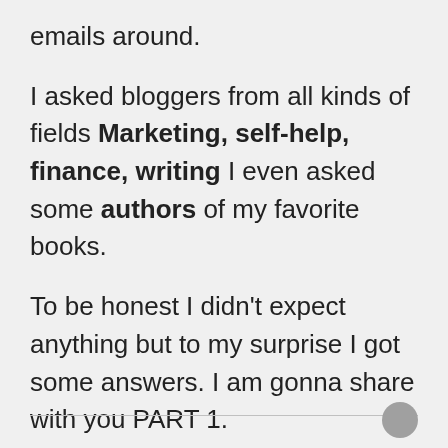emails around.
I asked bloggers from all kinds of fields Marketing, self-help, finance, writing I even asked some authors of my favorite books.
To be honest I didn't expect anything but to my surprise I got some answers. I am gonna share with you PART 1.
This part is introduction. You can look forward to big names (Mark Manson, Paul Jarvis and more) in the following part :).